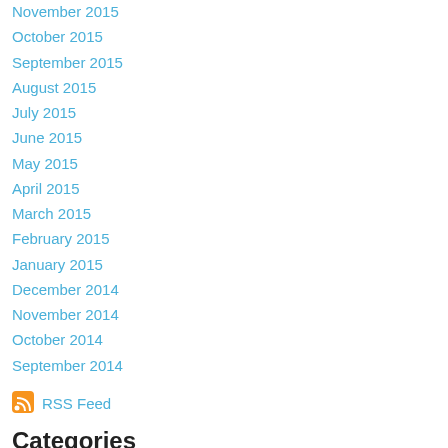November 2015
October 2015
September 2015
August 2015
July 2015
June 2015
May 2015
April 2015
March 2015
February 2015
January 2015
December 2014
November 2014
October 2014
September 2014
[Figure (logo): RSS feed icon (orange square with white radio waves)]
RSS Feed
Categories
All
Book/TV/Movie Reviews
Clubs/Activities